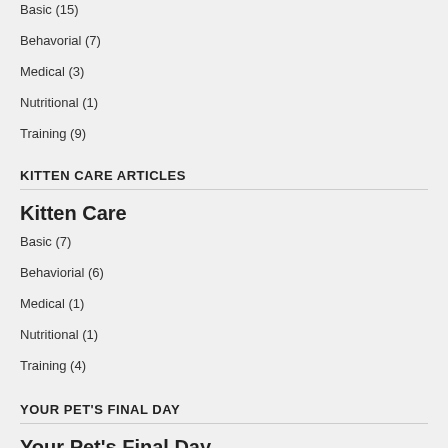Basic (15)
Behavorial (7)
Medical (3)
Nutritional (1)
Training (9)
KITTEN CARE ARTICLES
Kitten Care
Basic (7)
Behaviorial (6)
Medical (1)
Nutritional (1)
Training (4)
YOUR PET'S FINAL DAY
Your Pet's Final Day